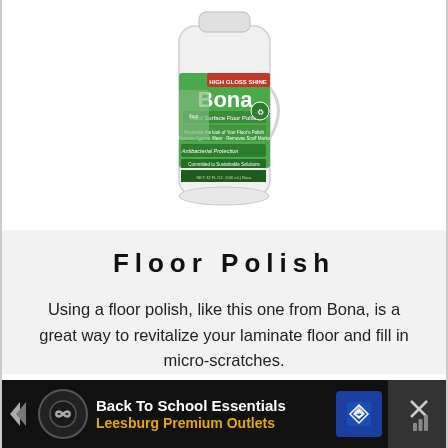[Figure (photo): A white plastic bottle of Bona Hard Surface Floor Polish with green label, shown against a white background.]
Floor Polish
Using a floor polish, like this one from Bona, is a great way to revitalize your laminate floor and fill in micro-scratches.
[Figure (screenshot): Advertisement banner at the bottom of the page for Back To School Essentials at Leesburg Premium Outlets, with a navigation/map icon and a close button.]